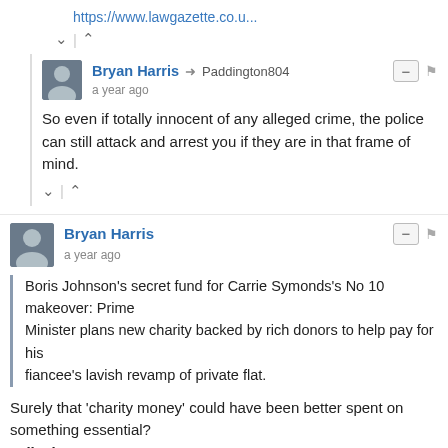https://www.lawgazette.co.u...
^ | v
Bryan Harris → Paddington804
a year ago
So even if totally innocent of any alleged crime, the police can still attack and arrest you if they are in that frame of mind.
^ | v
Bryan Harris
a year ago
Boris Johnson's secret fund for Carrie Symonds's No 10 makeover: Prime Minister plans new charity backed by rich donors to help pay for his fiancee's lavish revamp of private flat.
Surely that 'charity money' could have been better spent on something essential? Talk about wrong targets!